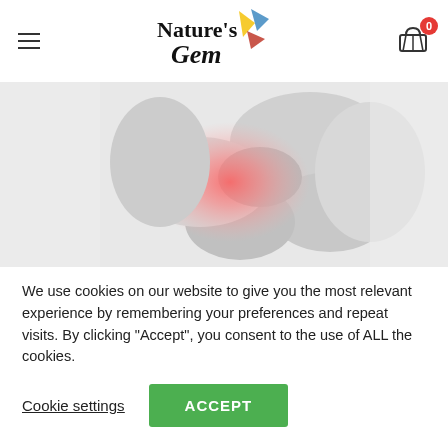Nature's Gem — navigation header with hamburger menu and cart (0 items)
[Figure (photo): Close-up of a person's ankle and heel being held by a hand, with a red/pink highlight indicating pain or inflammation in the ankle area. Image is mostly greyscale with the pain area shown in red-pink color.]
We use cookies on our website to give you the most relevant experience by remembering your preferences and repeat visits. By clicking "Accept", you consent to the use of ALL the cookies.
Cookie settings   ACCEPT